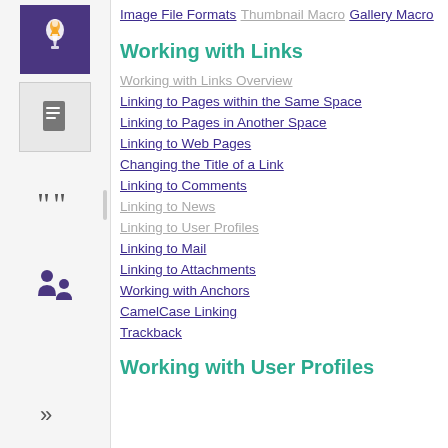Image File Formats
Thumbnail Macro
Gallery Macro
Working with Links
Working with Links Overview
Linking to Pages within the Same Space
Linking to Pages in Another Space
Linking to Web Pages
Changing the Title of a Link
Linking to Comments
Linking to News
Linking to User Profiles
Linking to Mail
Linking to Attachments
Working with Anchors
CamelCase Linking
Trackback
Working with User Profiles